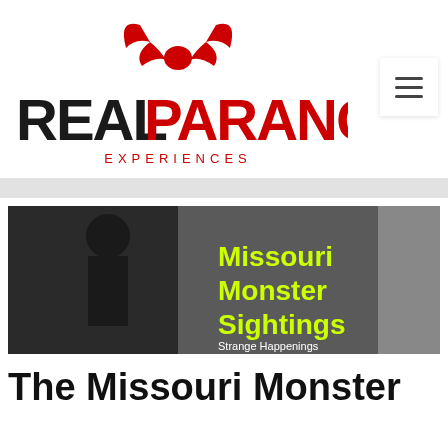[Figure (logo): Real Paranormal Experiences logo with red devil horn icon above text reading REAL in black and PARANORMAL in red with EXPERIENCES subtitle in red]
[Figure (screenshot): Hero image showing silhouette figures on dark background with yellow-green text reading Missouri Monster Sightings and subtitle Strange Happenings]
The Missouri Monster